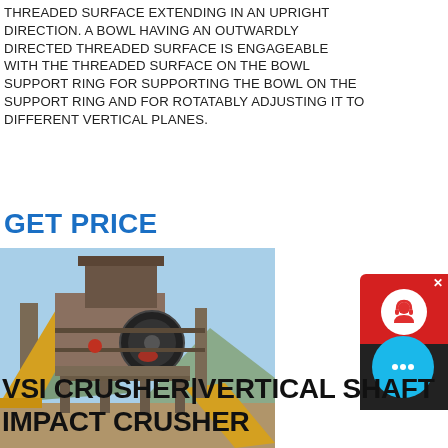THREADED SURFACE EXTENDING IN AN UPRIGHT DIRECTION. A BOWL HAVING AN OUTWARDLY DIRECTED THREADED SURFACE IS ENGAGEABLE WITH THE THREADED SURFACE ON THE BOWL SUPPORT RING FOR SUPPORTING THE BOWL ON THE SUPPORT RING AND FOR ROTATABLY ADJUSTING IT TO DIFFERENT VERTICAL PLANES.
GET PRICE
[Figure (photo): Photograph of a VSI crusher / vertical shaft impact crusher industrial machine outdoors with conveyor belts, against a blue sky and mountain background.]
[Figure (other): Chat Now widget with red background and headset icon, with close button X.]
[Figure (other): Floating cyan chat bubble button with ellipsis icon.]
VSI CRUSHER|VERTICAL SHAFT IMPACT CRUSHER